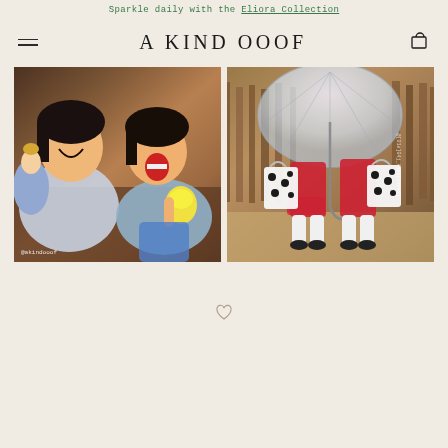Sparkle daily with the Eliora Collection
A KIND OOOF
[Figure (photo): Two laughing young Asian girls lying on a table; one holds an Elsa doll, the other holds a yellow lemon dessert. Watermark: @akindooof.]
[Figure (photo): Two girls standing under a clear dome umbrella, wearing red skirts and white knee socks, holding white tote bags with black polka dots. Rustic wooden fence background.]